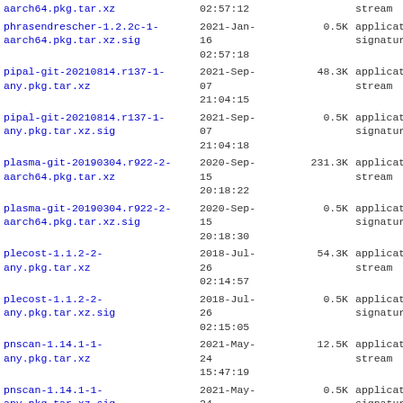| Name | Date | Size | Type |
| --- | --- | --- | --- |
| aarch64.pkg.tar.xz | 02:57:12 |  | stream |
| phrasendrescher-1.2.2c-1-aarch64.pkg.tar.xz.sig | 2021-Jan-16
02:57:18 | 0.5K | application/p
signature |
| pipal-git-20210814.r137-1-any.pkg.tar.xz | 2021-Sep-07
21:04:15 | 48.3K | application/o
stream |
| pipal-git-20210814.r137-1-any.pkg.tar.xz.sig | 2021-Sep-07
21:04:18 | 0.5K | application/p
signature |
| plasma-git-20190304.r922-2-aarch64.pkg.tar.xz | 2020-Sep-15
20:18:22 | 231.3K | application/o
stream |
| plasma-git-20190304.r922-2-aarch64.pkg.tar.xz.sig | 2020-Sep-15
20:18:30 | 0.5K | application/p
signature |
| plecost-1.1.2-2-any.pkg.tar.xz | 2018-Jul-26
02:14:57 | 54.3K | application/o
stream |
| plecost-1.1.2-2-any.pkg.tar.xz.sig | 2018-Jul-26
02:15:05 | 0.5K | application/p
signature |
| pnscan-1.14.1-1-any.pkg.tar.xz | 2021-May-24
15:47:19 | 12.5K | application/o
stream |
| pnscan-1.14.1-1-any.pkg.tar.xz.sig | 2021-May-24
15:47:22 | 0.5K | application/p
signature |
| pocsuite3-1.8.4-1-any.pkg.tar.xz | 2021-Sep-09
16:02:41 | 2.1M | application/o
stream |
| pocsuite3-1.8.4-1-... | 2021-Sep- |  | application/... |